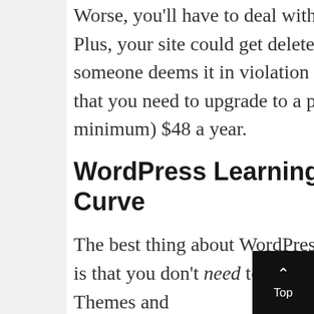Worse, you'll have to deal with ads popping up everywhere. Plus, your site could get deleted at any given moment if someone deems it in violation of the terms of service. To avoid that you need to upgrade to a paid plan, which costs (at a minimum) $48 a year.
WordPress Learning Curve
The best thing about WordPress as a web development platform is that you don't need to know any code to get started with it. Themes and